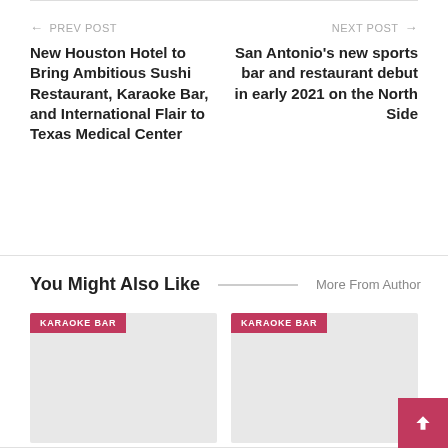← PREV POST
New Houston Hotel to Bring Ambitious Sushi Restaurant, Karaoke Bar, and International Flair to Texas Medical Center
NEXT POST →
San Antonio's new sports bar and restaurant debut in early 2021 on the North Side
You Might Also Like
More From Author
[Figure (other): Card placeholder image with KARAOKE BAR badge label]
[Figure (other): Card placeholder image with KARAOKE BAR badge label]